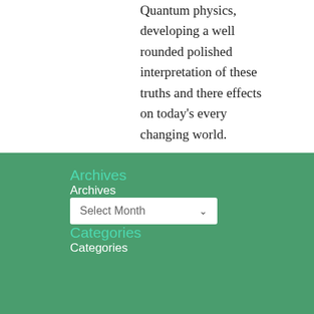Quantum physics, developing a well rounded polished interpretation of these truths and there effects on today's every changing world.
The Quantum Awakening
Archives
Archives
Select Month
Categories
Categories